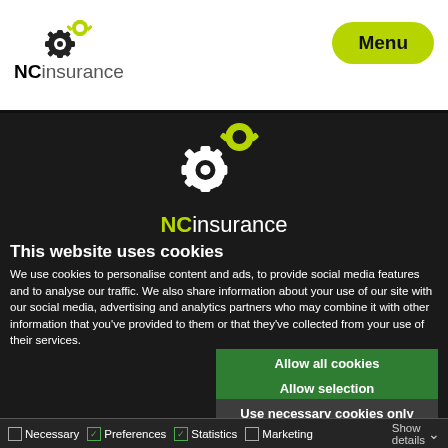[Figure (logo): NCinsurance logo with two interlocking gears (one black, one yellow-green) and text 'NCinsurance' in the white header bar]
Menu
[Figure (logo): NCinsurance logo centered on dark background with white and yellow-green gears and partial text 'NCinsurance']
This website uses cookies
We use cookies to personalise content and ads, to provide social media features and to analyse our traffic. We also share information about your use of our site with our social media, advertising and analytics partners who may combine it with other information that you've provided to them or that they've collected from your use of their services.
Allow all cookies
Allow selection
Use necessary cookies only
Necessary  Preferences  Statistics  Marketing  Show details